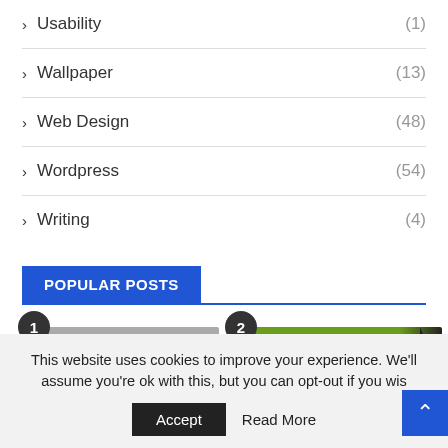Usability (1)
Wallpaper (13)
Web Design (48)
Wordpress (54)
Writing (4)
POPULAR POSTS
[Figure (screenshot): Popular posts section showing two numbered post thumbnails. Post 1 has a grey placeholder image with a number 1 badge. Post 2 shows a green Studios banner image with a number 2 badge.]
This website uses cookies to improve your experience. We'll assume you're ok with this, but you can opt-out if you wis
Accept   Read More